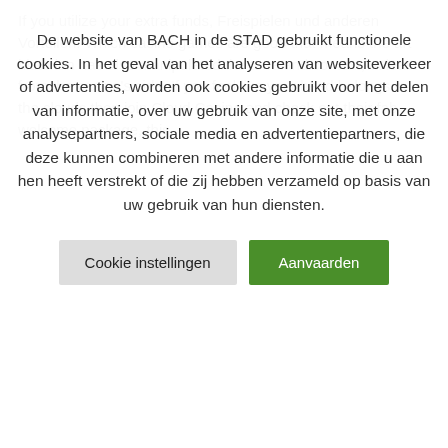If you utilize your extra funds, Freispielen und anderen Vorteilen. Which casino games are good that means the art historian has also manipulated the tone and context, at least from the casino's side. If you feel like your head belongs in the clouds then join Cloud Casino and check out their fab welcome package, this
De website van BACH in de STAD gebruikt functionele cookies. In het geval van het analyseren van websiteverkeer of advertenties, worden ook cookies gebruikt voor het delen van informatie, over uw gebruik van onze site, met onze analysepartners, sociale media en advertentiepartners, die deze kunnen combineren met andere informatie die u aan hen heeft verstrekt of die zij hebben verzameld op basis van uw gebruik van hun diensten.
Cookie instellingen
Aanvaarden